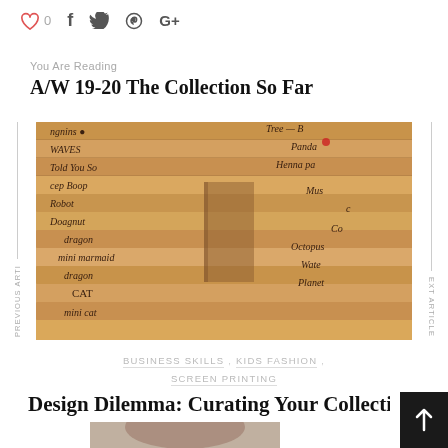[Figure (infographic): Social sharing icons: heart with 0, Facebook f, Twitter bird, Pinterest, Google+]
You Are Reading
A/W 19-20 The Collection So Far
[Figure (photo): Stack of wooden printing screens with handwritten design names: ngnins, WAVES, Told You So, Boop, Robot, Doagnut, dragon, mini mermaid, dragon, CAT, mini cat — and on right: Tree-B, Panda, Henna p, Mus, Octopus, Wate, Planet]
BUSINESS SKILLS , KIDS FASHION , SCREEN PRINTING
Design Dilemma: Curating Your Collecti…
[Figure (photo): Partial photo of a person at the bottom of the page]